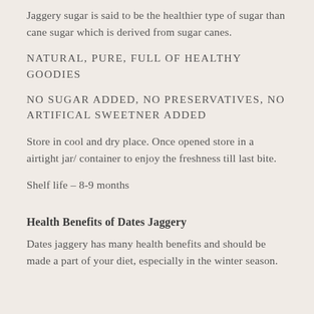Jaggery sugar is said to be the healthier type of sugar than cane sugar which is derived from sugar canes.
NATURAL, PURE, FULL OF HEALTHY GOODIES
NO SUGAR ADDED, NO PRESERVATIVES, NO ARTIFICAL SWEETNER ADDED
Store in cool and dry place. Once opened store in a airtight jar/ container to enjoy the freshness till last bite.
Shelf life – 8-9 months
Health Benefits of Dates Jaggery
Dates jaggery has many health benefits and should be made a part of your diet, especially in the winter season.